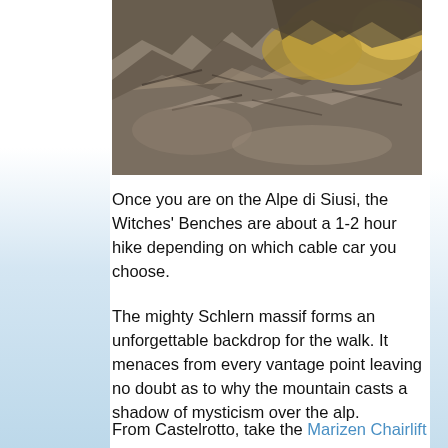[Figure (photo): Close-up photograph of rocky terrain with golden-brown moss or lichen covering jagged stone surfaces, typical of alpine mountain scenery]
Once you are on the Alpe di Siusi, the Witches' Benches are about a 1-2 hour hike depending on which cable car you choose.
The mighty Schlern massif forms an unforgettable backdrop for the walk. It menaces from every vantage point leaving no doubt as to why the mountain casts a shadow of mysticism over the alp.
From Castelrotto, take the Marizen Chairlift to